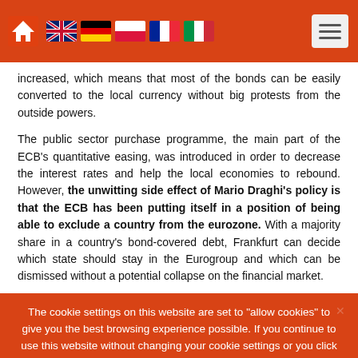Navigation header with home icon, language flags (UK, Germany, Poland, France, Italy), and hamburger menu
increased, which means that most of the bonds can be easily converted to the local currency without big protests from the outside powers.
The public sector purchase programme, the main part of the ECB's quantitative easing, was introduced in order to decrease the interest rates and help the local economies to rebound. However, the unwitting side effect of Mario Draghi's policy is that the ECB has been putting itself in a position of being able to exclude a country from the eurozone. With a majority share in a country's bond-covered debt, Frankfurt can decide which state should stay in the Eurogroup and which can be dismissed without a potential collapse on the financial market.
The cookie settings on this website are set to "allow cookies" to give you the best browsing experience possible. If you continue to use this website without changing your cookie settings or you click "Accept" below then you are consenting to this. Accept Read more